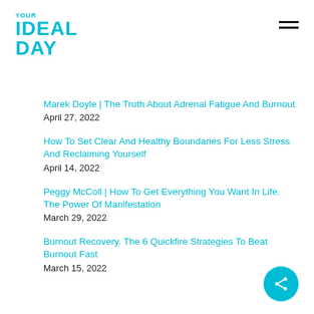[Figure (logo): Your Ideal Day logo in cyan/teal color]
Marek Doyle | The Truth About Adrenal Fatigue And Burnout
April 27, 2022
How To Set Clear And Healthy Boundaries For Less Stress And Reclaiming Yourself
April 14, 2022
Peggy McColl | How To Get Everything You Want In Life. The Power Of Manifestation
March 29, 2022
Burnout Recovery. The 6 Quickfire Strategies To Beat Burnout Fast
March 15, 2022